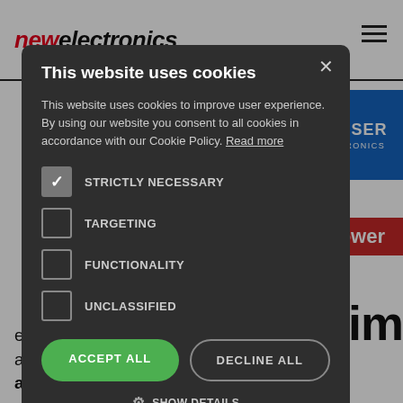newelectronics
[Figure (screenshot): Cookie consent modal overlay on newelectronics website showing 'This website uses cookies' dialog with checkboxes for STRICTLY NECESSARY (checked), TARGETING, FUNCTIONALITY, UNCLASSIFIED, and buttons ACCEPT ALL and DECLINE ALL]
This website uses cookies
This website uses cookies to improve user experience. By using our website you consent to all cookies in accordance with our Cookie Policy. Read more
STRICTLY NECESSARY
TARGETING
FUNCTIONALITY
UNCLASSIFIED
ACCEPT ALL
DECLINE ALL
SHOW DETAILS
ence and
anced the
acquisition of Powersim, a provider of